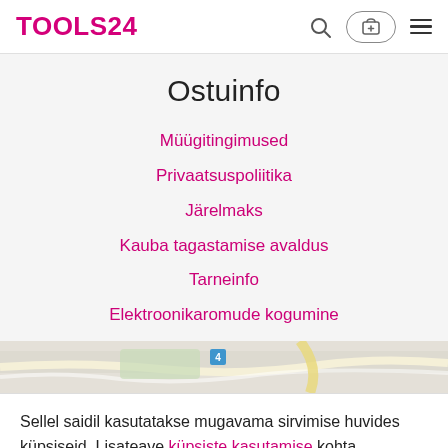TOOLS24
Ostuinfo
Müügitingimused
Privaatsuspoliitika
Järelmaks
Kauba tagastamise avaldus
Tarneinfo
Elektroonikaromude kogumine
[Figure (map): Partial map background visible at bottom of main content area]
Sellel saidil kasutatakse mugavama sirvimise huvides küpsiseid. Lisateave küpsiste kasutamise kohta.
ROHKEM  NÕUSTUN